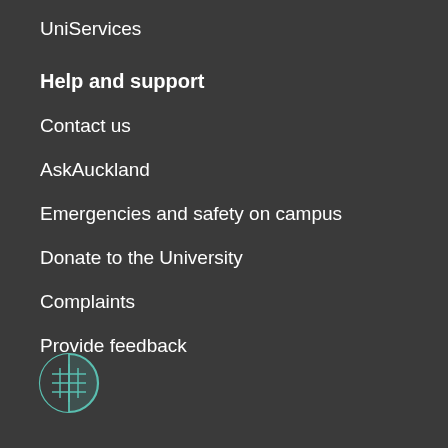UniServices
Help and support
Contact us
AskAuckland
Emergencies and safety on campus
Donate to the University
Complaints
Provide feedback
[Figure (logo): University of Auckland circular logo icon with building/grid graphic, teal outline on dark background]